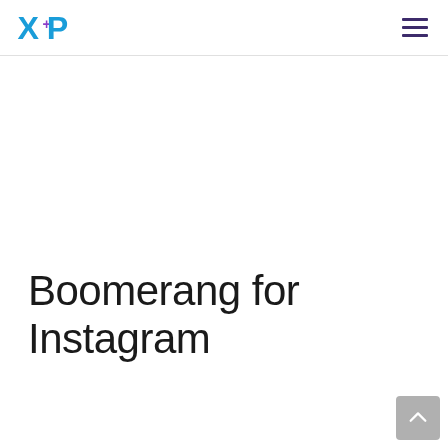XP logo and navigation menu
Boomerang for Instagram
Boomerang enables Instagrammers to immediately capture moments and post them in high resolution